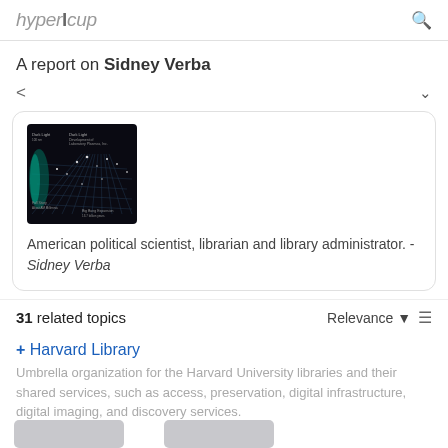hypercup (logo) + search icon
A report on Sidney Verba
[Figure (illustration): Dark space/universe image representing a knowledge graph or data visualization on black background]
American political scientist, librarian and library administrator. - Sidney Verba
31 related topics   Relevance ▾
+ Harvard Library
Umbrella organization for the Harvard University libraries and their shared services, such as access, preservation, digital infrastructure, digital imaging, and discovery services.